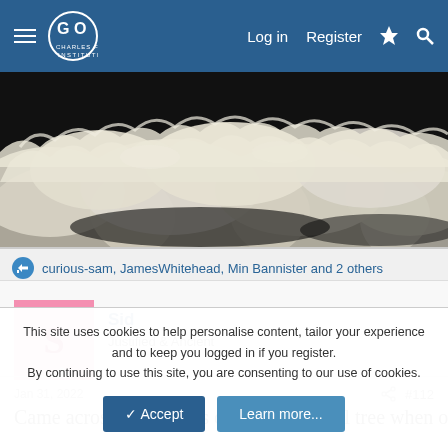Charles Fort Institute — Log in | Register
[Figure (photo): Close-up photo of white bracket/shelf fungus growing on dark background, showing overlapping frilly fan-shaped formations]
curious-sam, JamesWhitehead, Min Bannister and 2 others
Sid
Justified & Ancient
Jan 31, 2022  #112
Came across this fungus on a young hazel tree when out on
This site uses cookies to help personalise content, tailor your experience and to keep you logged in if you register.
By continuing to use this site, you are consenting to our use of cookies.
✓ Accept   Learn more...